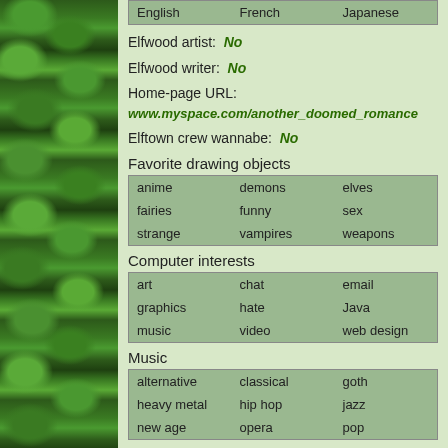| English | French | Japanese |
Elfwood artist:  No
Elfwood writer:  No
Home-page URL:  www.myspace.com/another_doomed_romance
Elftown crew wannabe:  No
Favorite drawing objects
| anime | demons | elves |
| fairies | funny | sex |
| strange | vampires | weapons |
Computer interests
| art | chat | email |
| graphics | hate | Java |
| music | video | web design |
Music
| alternative | classical | goth |
| heavy metal | hip hop | jazz |
| new age | opera | pop |